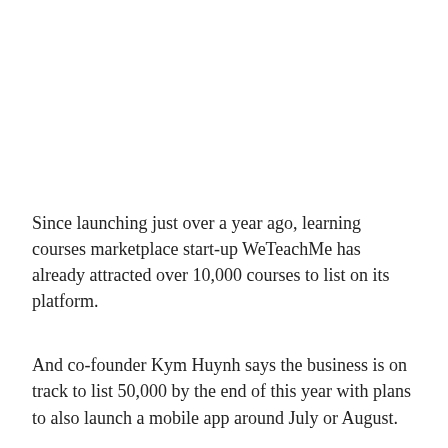Since launching just over a year ago, learning courses marketplace start-up WeTeachMe has already attracted over 10,000 courses to list on its platform.
And co-founder Kym Huynh says the business is on track to list 50,000 by the end of this year with plans to also launch a mobile app around July or August.